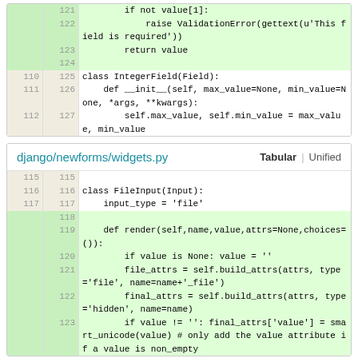[Figure (screenshot): Code diff table showing lines 121-127 of a Python file with line numbers and green-highlighted added lines. Lines 121-124 are green (added), lines 125-127 are neutral.]
[Figure (screenshot): Code diff block for django/newforms/widgets.py with Tabular/Unified tab header. Shows lines 115-123 with green-highlighted added lines for class FileInput(Input) and render method.]